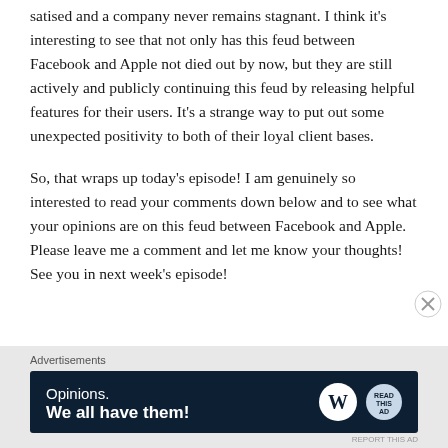satised and a company never remains stagnant. I think it's interesting to see that not only has this feud between Facebook and Apple not died out by now, but they are still actively and publicly continuing this feud by releasing helpful features for their users. It's a strange way to put out some unexpected positivity to both of their loyal client bases.
So, that wraps up today's episode! I am genuinely so interested to read your comments down below and to see what your opinions are on this feud between Facebook and Apple. Please leave me a comment and let me know your thoughts! See you in next week's episode!
[Figure (other): Advertisement banner with dark navy background showing 'Opinions. We all have them!' text with WordPress logo and another circular logo on the right.]